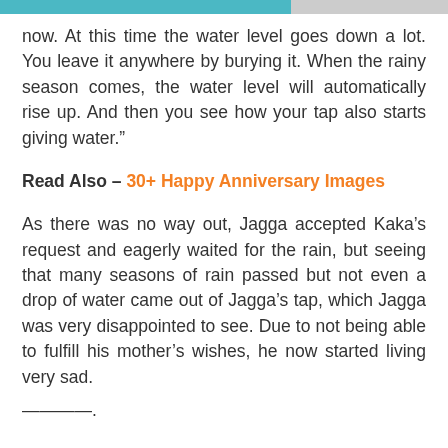now. At this time the water level goes down a lot. You leave it anywhere by burying it. When the rainy season comes, the water level will automatically rise up. And then you see how your tap also starts giving water.”
Read Also – 30+ Happy Anniversary Images
As there was no way out, Jagga accepted Kaka’s request and eagerly waited for the rain, but seeing that many seasons of rain passed but not even a drop of water came out of Jagga’s tap, which Jagga was very disappointed to see. Due to not being able to fulfill his mother’s wishes, he now started living very sad.
————.